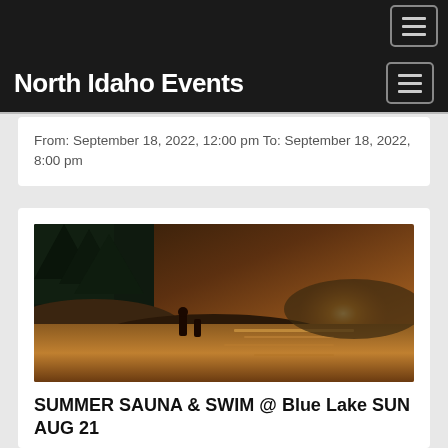North Idaho Events
From: September 18, 2022, 12:00 pm To: September 18, 2022, 8:00 pm
[Figure (photo): Outdoor lakeside scene at sunset with people near the water, trees in background, warm golden light]
SUMMER SAUNA & SWIM @ Blue Lake SUN AUG 21